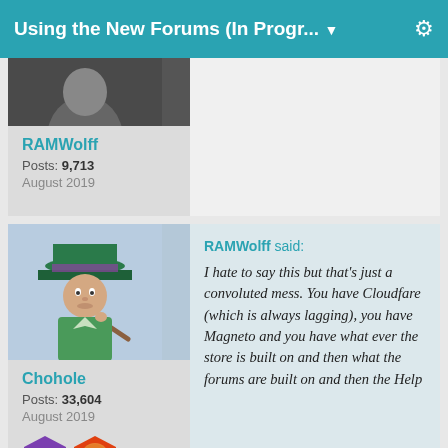Using the New Forums (In Progr... ▼
RAMWolff
Posts: 9,713
August 2019
Chohole
Posts: 33,604
August 2019
RAMWolff said:
I hate to say this but that's just a convoluted mess. You have Cloudfare (which is always lagging), you have Magneto and you have what ever the store is built on and then what the forums are built on and then the Help